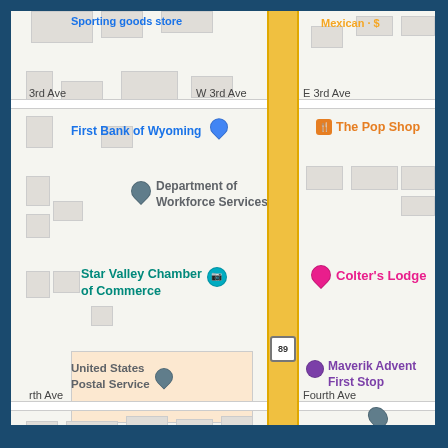[Figure (map): Google Maps screenshot showing a street map of what appears to be Afton, Wyoming. A main road (US Route 89) runs vertically through the center in yellow. Street labels include 3rd Ave, W 3rd Ave, E 3rd Ave, rth Ave (Fourth Ave), Fourth Ave. Business labels visible: Sporting goods store, Mexican $, First Bank of Wyoming, The Pop Shop, Department of Workforce Services, Star Valley Chamber of Commerce, Colter's Lodge, United States Postal Service, Maverik Advent First Stop, Voss Vision, Ford Theatre, Nancy's Hair Care, World's Largest. Various building footprints shown in light gray on a white/light map background. Map is framed by a dark blue border.]